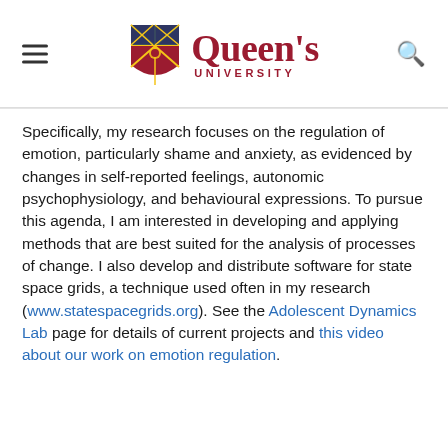Queen's University
Specifically, my research focuses on the regulation of emotion, particularly shame and anxiety, as evidenced by changes in self-reported feelings, autonomic psychophysiology, and behavioural expressions. To pursue this agenda, I am interested in developing and applying methods that are best suited for the analysis of processes of change. I also develop and distribute software for state space grids, a technique used often in my research (www.statespacegrids.org). See the Adolescent Dynamics Lab page for details of current projects and this video about our work on emotion regulation.